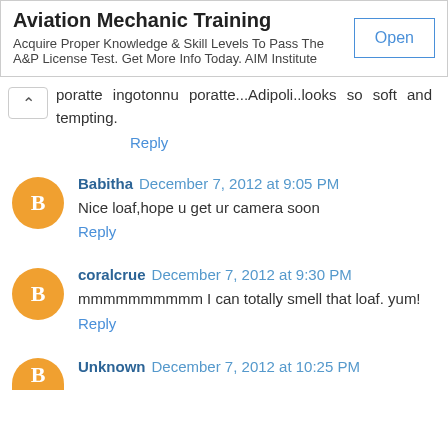[Figure (other): Advertisement banner for Aviation Mechanic Training by AIM Institute with an Open button]
poratte ingotonnu poratte...Adipoli..looks so soft and tempting.
Reply
Babitha December 7, 2012 at 9:05 PM
Nice loaf,hope u get ur camera soon
Reply
coralcrue December 7, 2012 at 9:30 PM
mmmmmmmmmm I can totally smell that loaf. yum!
Reply
Unknown December 7, 2012 at 10:25 PM